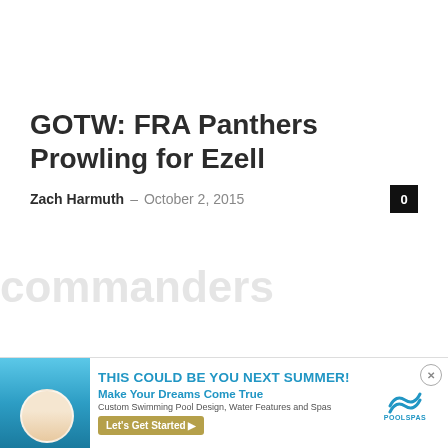GOTW: FRA Panthers Prowling for Ezell
Zach Harmuth – October 2, 2015
[Figure (infographic): Advertisement banner: pool/spa ad with photo of pool, headline THIS COULD BE YOU NEXT SUMMER!, subheadline Make Your Dreams Come True, body Custom Swimming Pool Design, Water Features and Spas, CTA button Let's Get Started, PoolSpas logo]